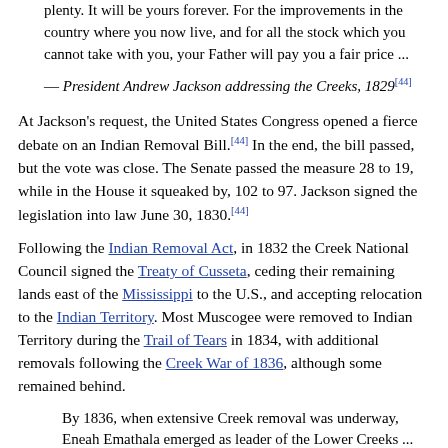plenty. It will be yours forever. For the improvements in the country where you now live, and for all the stock which you cannot take with you, your Father will pay you a fair price ...
— President Andrew Jackson addressing the Creeks, 1829[44]
At Jackson's request, the United States Congress opened a fierce debate on an Indian Removal Bill.[44] In the end, the bill passed, but the vote was close. The Senate passed the measure 28 to 19, while in the House it squeaked by, 102 to 97. Jackson signed the legislation into law June 30, 1830.[44]
Following the Indian Removal Act, in 1832 the Creek National Council signed the Treaty of Cusseta, ceding their remaining lands east of the Mississippi to the U.S., and accepting relocation to the Indian Territory. Most Muscogee were removed to Indian Territory during the Trail of Tears in 1834, with additional removals following the Creek War of 1836, although some remained behind.
By 1836, when extensive Creek removal was underway, Eneah Emathala emerged as leader of the Lower Creeks ... their desire was only to be left alone in their homeland ... Gen. Winfield Scott was ordered